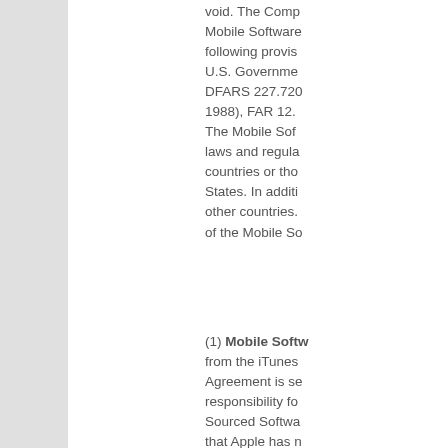void. The Comp Mobile Software following provis U.S. Governme DFARS 227.720 1988), FAR 12. The Mobile Sof laws and regula countries or tho States. In additi other countries. of the Mobile So
(1) Mobile Softw from the iTunes Agreement is se responsibility fo Sourced Softwa that Apple has n with respect to t Sourced Softwa